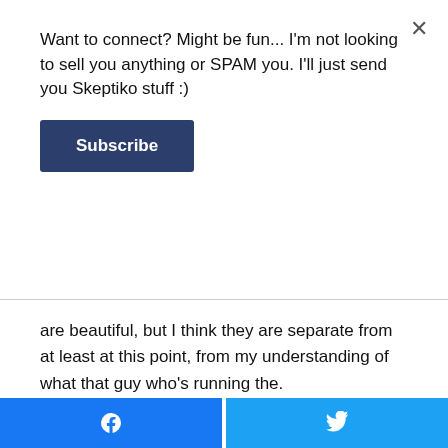Want to connect? Might be fun... I'm not looking to sell you anything or SPAM you. I'll just send you Skeptiko stuff :)
Subscribe
are beautiful, but I think they are separate from at least at this point, from my understanding of what that guy who's running the.
PSYOPs what he's doing. And so I just want to, for a minute kind of remove the spiritual part of that, and just look at the, if I was charged with doing that job and I was like into it and wanting to do that job, this is how I do it. I mix information with false information. I'd have exaggerated information.
[Figure (other): Facebook and Twitter share buttons at the bottom of the page]